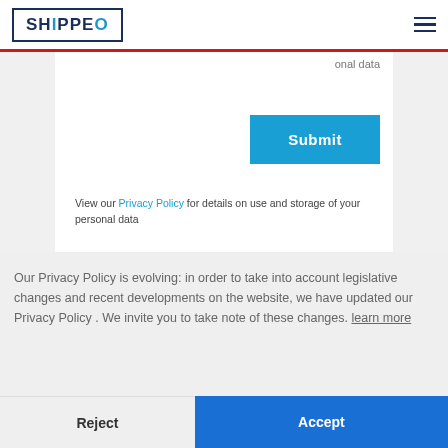[Figure (logo): Shippeo logo with blue border box and hamburger menu icon on the right]
onal data
[Figure (screenshot): Blue Submit button]
View our Privacy Policy for details on use and storage of your personal data
Our Privacy Policy is evolving: in order to take into account legislative changes and recent developments on the website, we have updated our Privacy Policy . We invite you to take note of these changes. learn more
Reject
Accept
[Figure (logo): Shippeo S logo mark in white on dark navy background with yellow badge checkmark]
W
provider